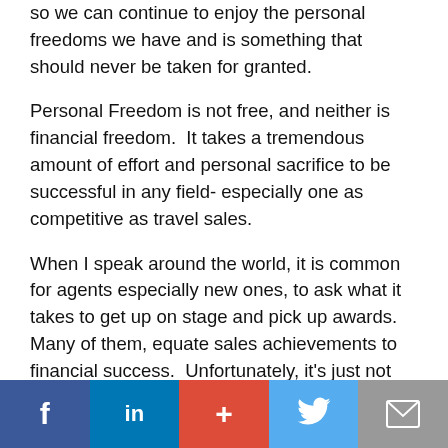so we can continue to enjoy the personal freedoms we have and is something that should never be taken for granted.
Personal Freedom is not free, and neither is financial freedom.  It takes a tremendous amount of effort and personal sacrifice to be successful in any field- especially one as competitive as travel sales.
When I speak around the world, it is common for agents especially new ones, to ask what it takes to get up on stage and pick up awards.  Many of them, equate sales achievements to financial success.  Unfortunately, it's just not true.
Suppliers reward those who sell in large volumes.
Facebook LinkedIn Google+ Twitter Email